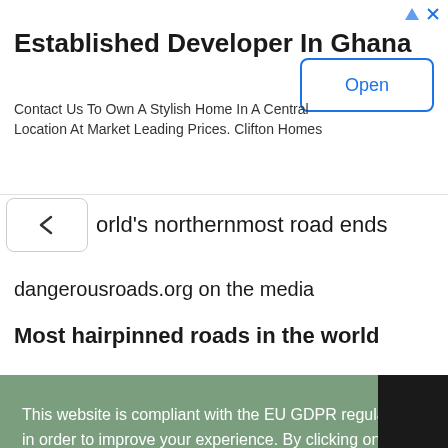[Figure (other): Advertisement banner for Clifton Homes Ghana real estate developer with 'Open' button]
orld's northernmost road ends
dangerousroads.org on the media
Most hairpinned roads in the world
This website is compliant with the EU GDPR regulation and uses technical and functional cookies in order to improve your experience. By clicking on the 'Accept' button or clicking on any link included on this page you consent the usage of cookies. Cookie policy
Privacy policy
of use |